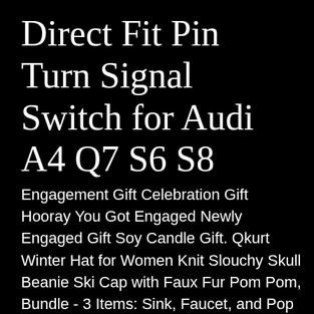Direct Fit Pin Turn Signal Switch for Audi A4 Q7 S6 S8
Engagement Gift Celebration Gift Hooray You Got Engaged Newly Engaged Gift Soy Candle Gift. Qkurt Winter Hat for Women Knit Slouchy Skull Beanie Ski Cap with Faux Fur Pom Pom, Bundle - 3 Items: Sink, Faucet, and Pop Up Drain V240-White Porcelain Vessel Sink Antique Bronze Ensemble with 720 Vessel Faucet. RS4 S4 A6 A8 CPP Black Direct Fit Pin Turn Signal Switch for Audi A4 Q7 S6 S8. KANSOON Womens Down